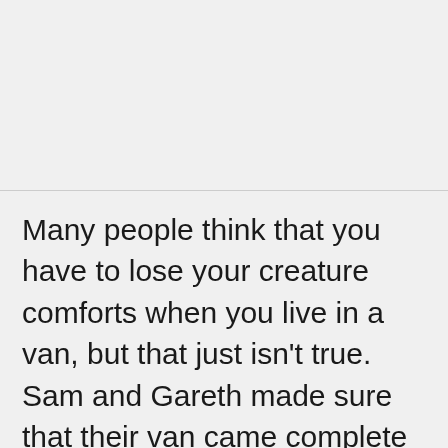Many people think that you have to lose your creature comforts when you live in a van, but that just isn't true. Sam and Gareth made sure that their van came complete with its very own kitchen to ensure... meals... he
[Figure (screenshot): Ad overlay showing 'Search for | Glocal Search' header with Ad badge and eye icon, and list item '1. CHAT WITH PEOPLE ONLINE' with a chevron arrow]